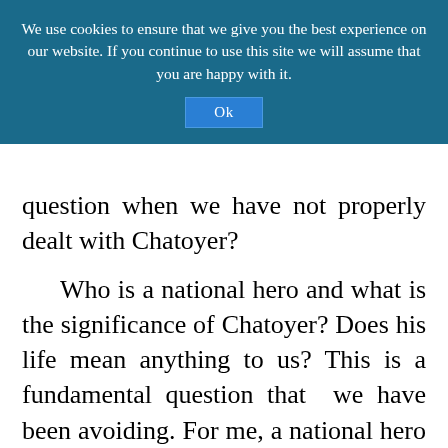We use cookies to ensure that we give you the best experience on our website. If you continue to use this site we will assume that you are happy with it.
Ok
question when we have not properly dealt with Chatoyer?
Who is a national hero and what is the significance of Chatoyer? Does his life mean anything to us? This is a fundamental question that we have been avoiding. For me, a national hero is a national role model and a national symbol. We always hear names of possible national heroes, but most people do not have a clue about the criteria for selecting national heroes.